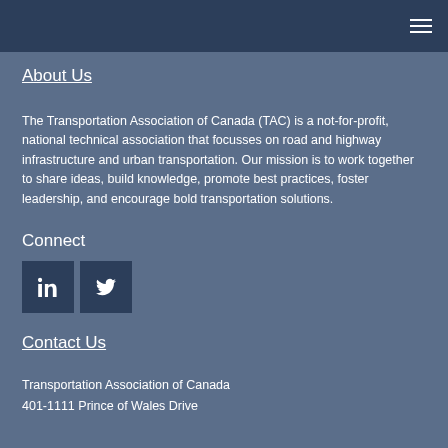About Us
The Transportation Association of Canada (TAC) is a not-for-profit, national technical association that focusses on road and highway infrastructure and urban transportation. Our mission is to work together to share ideas, build knowledge, promote best practices, foster leadership, and encourage bold transportation solutions.
Connect
[Figure (other): LinkedIn and Twitter social media icon buttons]
Contact Us
Transportation Association of Canada
401-1111 Prince of Wales Drive